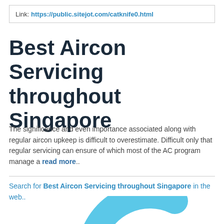Link: https://public.sitejot.com/catknife0.html
Best Aircon Servicing throughout Singapore
The significance and even importance associated along with regular aircon upkeep is difficult to overestimate. Difficult only that regular servicing can ensure of which most of the AC program manage a read more..
Search for Best Aircon Servicing throughout Singapore in the web..
[Figure (illustration): Partial blue circular logo or graphic, large rounded C-shape in light blue color, cropped at bottom of page]